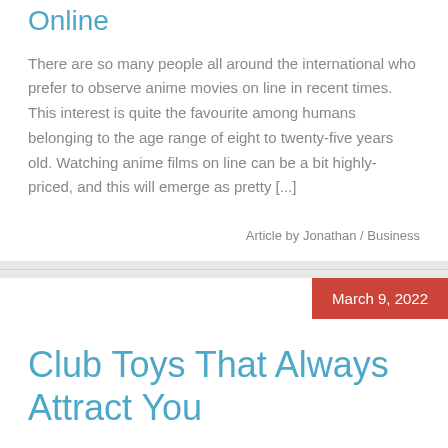Online
There are so many people all around the international who prefer to observe anime movies on line in recent times. This interest is quite the favourite among humans belonging to the age range of eight to twenty-five years old. Watching anime films on line can be a bit highly-priced, and this will emerge as pretty [...]
Article by Jonathan / Business
March 9, 2022
Club Toys That Always Attract You
Marbella is famous worldwide as a classy and luxurious